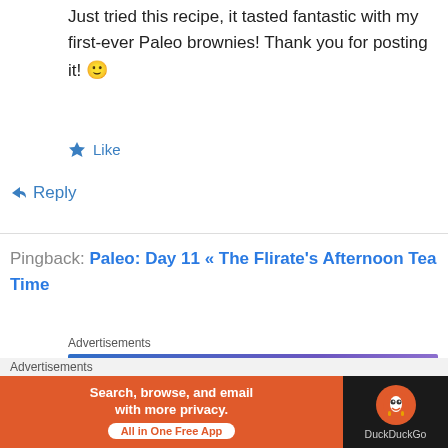Just tried this recipe, it tasted fantastic with my first-ever Paleo brownies! Thank you for posting it! 🙂
★ Like
↪ Reply
Pingback: Paleo: Day 11 « The Flirate's Afternoon Tea Time
Advertisements
[Figure (other): Advertisement banner: 'Simplified pricing for everything you need.' with blue-purple gradient background]
Advertisements
[Figure (other): DuckDuckGo advertisement: 'Search, browse, and email with more privacy. All in One Free App' with orange background and DuckDuckGo logo on dark background]